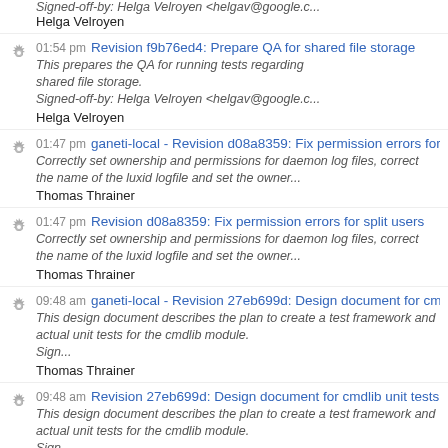Signed-off-by: Helga Velroyen <helgav@google.c...
Helga Velroyen
01:54 pm Revision f9b76ed4: Prepare QA for shared file storage. This prepares the QA for running tests regarding shared file storage. Signed-off-by: Helga Velroyen <helgav@google.c... Helga Velroyen
01:47 pm ganeti-local - Revision d08a8359: Fix permission errors for split. Correctly set ownership and permissions for daemon log files, correct the name of the luxid logfile and set the owner... Thomas Thrainer
01:47 pm Revision d08a8359: Fix permission errors for split users. Correctly set ownership and permissions for daemon log files, correct the name of the luxid logfile and set the owner... Thomas Thrainer
09:48 am ganeti-local - Revision 27eb699d: Design document for cmdlib u... This design document describes the plan to create a test framework and actual unit tests for the cmdlib module. Sign... Thomas Thrainer
09:48 am Revision 27eb699d: Design document for cmdlib unit tests. This design document describes the plan to create a test framework and actual unit tests for the cmdlib module. Sign... Thomas Thrainer
07/19/2013
07:45 pm ganeti-local - Revision 201ef8b4: Update the lists of users and g...